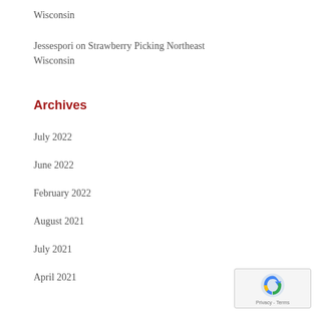Wisconsin
Jessespori on Strawberry Picking Northeast Wisconsin
Archives
July 2022
June 2022
February 2022
August 2021
July 2021
April 2021
January 2021
October 2020